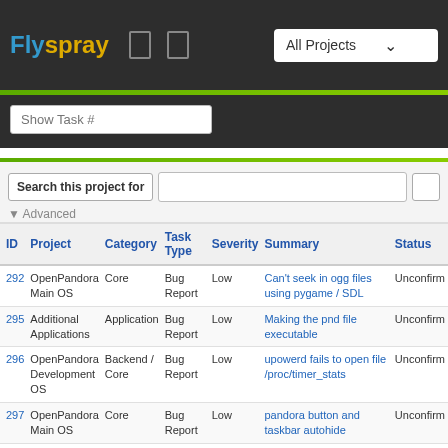Flyspray — All Projects
Show Task #
Search this project for ▼ Advanced
| ID | Project | Category | Task Type | Severity | Summary | Status |
| --- | --- | --- | --- | --- | --- | --- |
| 292 | OpenPandora Main OS | Core | Bug Report | Low | Can't seek in ogg files using pygame / SDL | Unconfirm |
| 295 | Additional Applications | Application | Bug Report | Low | Making the pnd file executable | Unconfirm |
| 296 | OpenPandora Development OS | Backend / Core | Bug Report | Low | upowerd fails to open file /proc/timer_stats | Unconfirm |
| 297 | OpenPandora Main OS | Core | Bug Report | Low | pandora button and taskbar autohide | Unconfirm |
| 299 | OpenPandora | Core | Bug | Low | run_pnd.sh does not follow | Assigned |